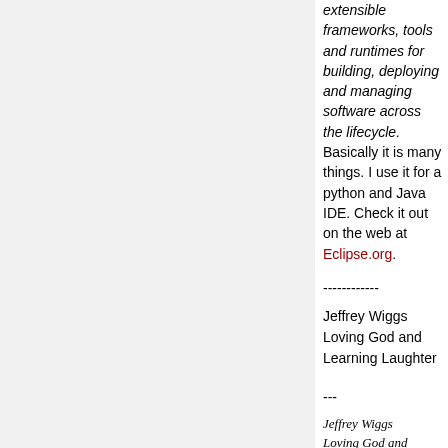extensible frameworks, tools and runtimes for building, deploying and managing software across the lifecycle. Basically it is many things. I use it for a python and Java IDE. Check it out on the web at Eclipse.org.
------------ Jeffrey Wiggs Loving God and Learning Laughter
--- Jeffrey Wiggs Loving God and